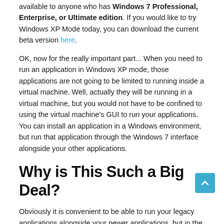available to anyone who has Windows 7 Professional, Enterprise, or Ultimate edition. If you would like to try Windows XP Mode today, you can download the current beta version here.
OK, now for the really important part... When you need to run an application in Windows XP mode, those applications are not going to be limited to running inside a virtual machine. Well, actually they will be running in a virtual machine, but you would not have to be confined to using the virtual machine's GUI to run your applications. You can install an application in a Windows environment, but run that application through the Windows 7 interface alongside your other applications.
Why is This Such a Big Deal?
Obviously it is convenient to be able to run your legacy applications alongside your newer applications, but in the